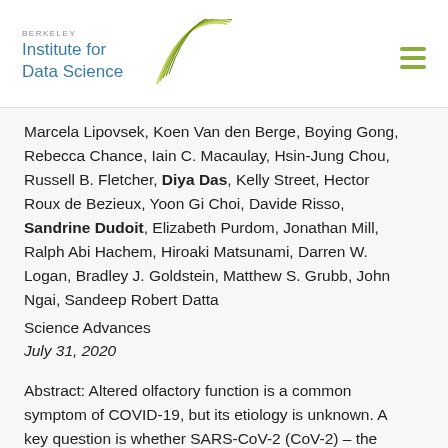BERKELEY Institute for Data Science
Marcela Lipovsek, Koen Van den Berge, Boying Gong, Rebecca Chance, Iain C. Macaulay, Hsin-Jung Chou, Russell B. Fletcher, Diya Das, Kelly Street, Hector Roux de Bezieux, Yoon Gi Choi, Davide Risso, Sandrine Dudoit, Elizabeth Purdom, Jonathan Mill, Ralph Abi Hachem, Hiroaki Matsunami, Darren W. Logan, Bradley J. Goldstein, Matthew S. Grubb, John Ngai, Sandeep Robert Datta
Science Advances
July 31, 2020
Abstract: Altered olfactory function is a common symptom of COVID-19, but its etiology is unknown. A key question is whether SARS-CoV-2 (CoV-2) – the causal agent in COVID-19 – affects olfaction directly,